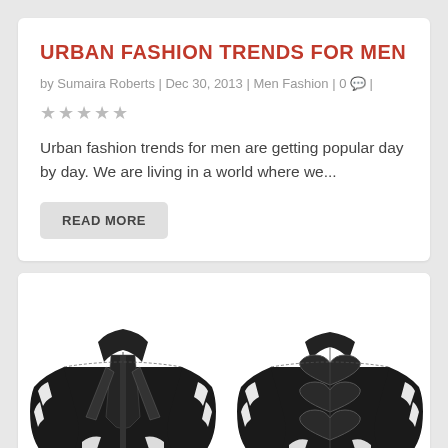URBAN FASHION TRENDS FOR MEN
by Sumaira Roberts | Dec 30, 2013 | Men Fashion | 0 💬 |
★★★★★
Urban fashion trends for men are getting popular day by day. We are living in a world where we...
READ MORE
[Figure (illustration): Two views of a black motorcycle jacket with white accents — front view on the left and back view on the right.]